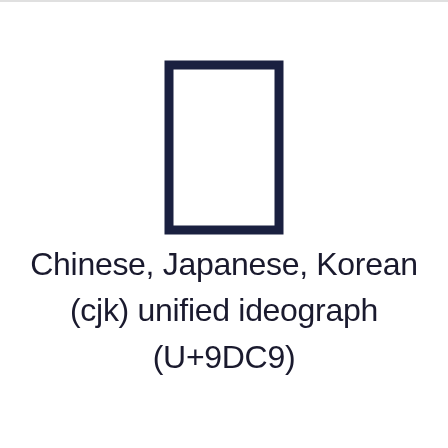[Figure (illustration): A tall narrow rectangle outlined in dark navy blue, representing the CJK unified ideograph character U+9DC9, rendered as a box glyph outline.]
Chinese, Japanese, Korean (cjk) unified ideograph (U+9DC9)